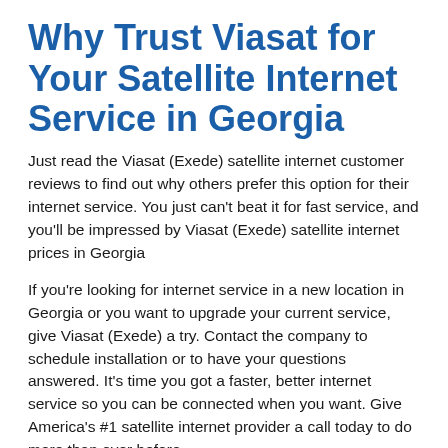Why Trust Viasat for Your Satellite Internet Service in Georgia
Just read the Viasat (Exede) satellite internet customer reviews to find out why others prefer this option for their internet service. You just can't beat it for fast service, and you'll be impressed by Viasat (Exede) satellite internet prices in Georgia
If you're looking for internet service in a new location in Georgia or you want to upgrade your current service, give Viasat (Exede) a try. Contact the company to schedule installation or to have your questions answered. It's time you got a faster, better internet service so you can be connected when you want. Give America's #1 satellite internet provider a call today to do more than ever before.
Georgia Satellite Internet Service by Viasat (formerly